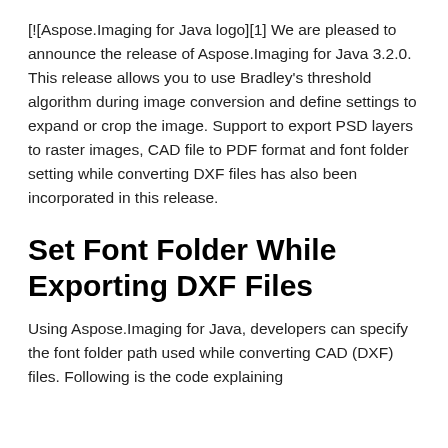[![Aspose.Imaging for Java logo][1] We are pleased to announce the release of Aspose.Imaging for Java 3.2.0. This release allows you to use Bradley's threshold algorithm during image conversion and define settings to expand or crop the image. Support to export PSD layers to raster images, CAD file to PDF format and font folder setting while converting DXF files has also been incorporated in this release.
Set Font Folder While Exporting DXF Files
Using Aspose.Imaging for Java, developers can specify the font folder path used while converting CAD (DXF) files. Following is the code explaining